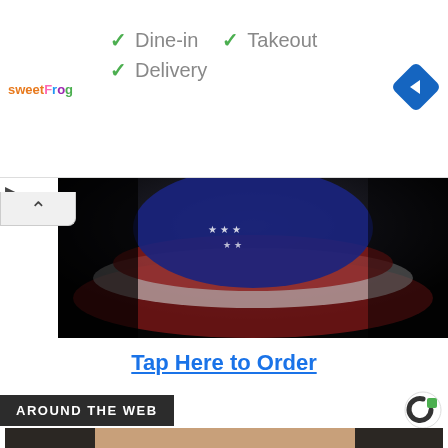[Figure (screenshot): Advertisement banner with sweetFrog logo, checkmarks for Dine-in, Takeout, Delivery, and a blue navigation arrow icon]
✓ Dine-in  ✓ Takeout
✓ Delivery
[Figure (photo): Dark photo showing bottom portion of a Captain America patriotic shield with stars and red/white stripes]
Tap Here to Order
AROUND THE WEB
[Figure (photo): Close-up photo of a dark-haired woman's face, looking toward camera]